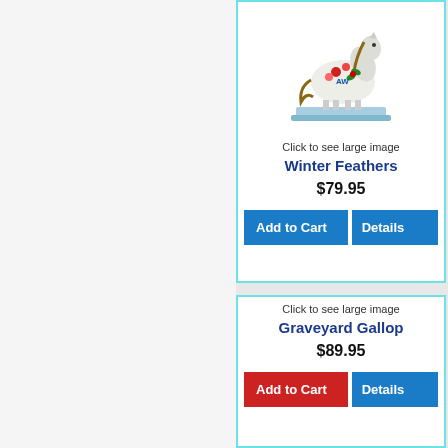[Figure (photo): Decorative horse figurine painted with holly and flowers, standing on a light blue base - Winter Feathers product]
Click to see large image
Winter Feathers
$79.95
Add to Cart
Details
[Figure (photo): Product image area for Graveyard Gallop horse figurine (image not fully visible)]
Click to see large image
Graveyard Gallop
$89.95
Add to Cart
Details